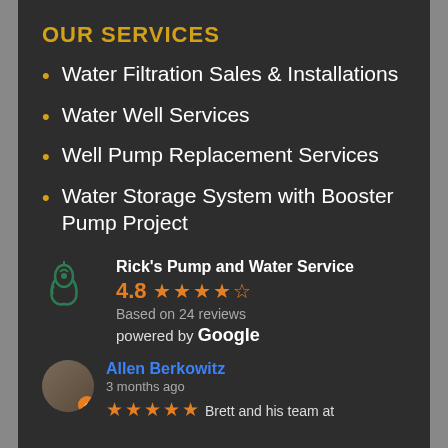OUR SERVICES
Water Filtration Sales & Installations
Water Well Services
Well Pump Replacement Services
Water Storage System with Booster Pump Project
Rick's Pump and Water Service
4.8 ★★★★½
Based on 24 reviews
powered by Google
Allen Berkowitz
3 months ago
★★★★★ Brett and his team at